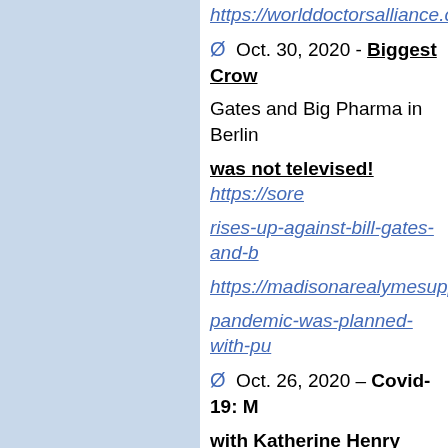https://worlddoctorsalliance.com (truncated)
Ø Oct. 30, 2020 - Biggest Crow... Gates and Big Pharma in Berlin... was not televised! https://sore... rises-up-against-bill-gates-and-b...
https://madisonarealymesuppor... pandemic-was-planned-with-pu...
Ø Oct. 26, 2020 – Covid-19: M... with Katherine Henry https://w...
Ø Oct. 24, 2020 – (Update) Fri... invalid)
https://youtu.be/J49_x8-gzDM
Ø Oct. 19, 2020 – Doctors For... Professionals are suing the N...